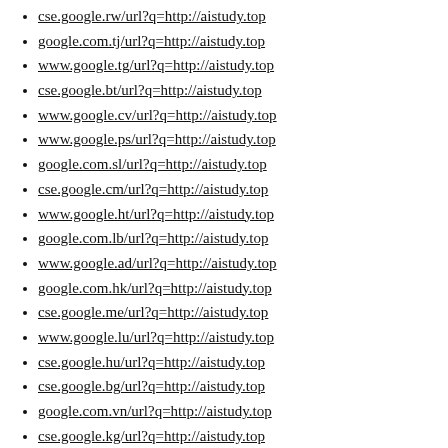cse.google.rw/url?q=http://aistudy.top
google.com.tj/url?q=http://aistudy.top
www.google.tg/url?q=http://aistudy.top
cse.google.bt/url?q=http://aistudy.top
www.google.cv/url?q=http://aistudy.top
www.google.ps/url?q=http://aistudy.top
google.com.sl/url?q=http://aistudy.top
cse.google.cm/url?q=http://aistudy.top
www.google.ht/url?q=http://aistudy.top
google.com.lb/url?q=http://aistudy.top
www.google.ad/url?q=http://aistudy.top
google.com.hk/url?q=http://aistudy.top
cse.google.me/url?q=http://aistudy.top
www.google.lu/url?q=http://aistudy.top
cse.google.hu/url?q=http://aistudy.top
cse.google.bg/url?q=http://aistudy.top
google.com.vn/url?q=http://aistudy.top
cse.google.kg/url?q=http://aistudy.top
google.com.mx/url?q=http://aistudy.top